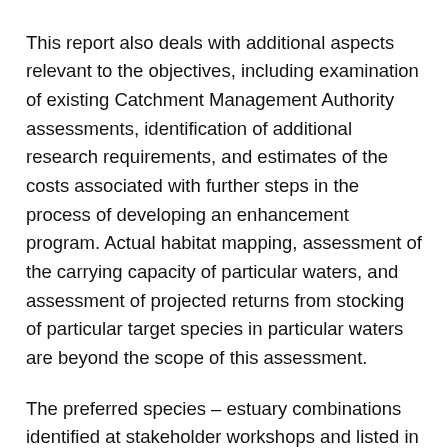This report also deals with additional aspects relevant to the objectives, including examination of existing Catchment Management Authority assessments, identification of additional research requirements, and estimates of the costs associated with further steps in the process of developing an enhancement program. Actual habitat mapping, assessment of the carrying capacity of particular waters, and assessment of projected returns from stocking of particular target species in particular waters are beyond the scope of this assessment.
The preferred species – estuary combinations identified at stakeholder workshops and listed in